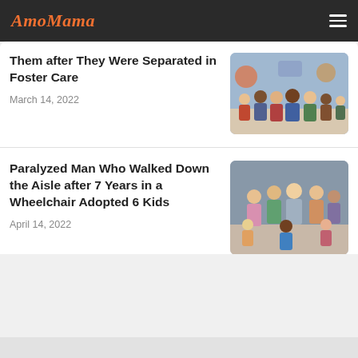AmoMama
Them after They Were Separated in Foster Care
March 14, 2022
[Figure (photo): Group of children posing together, diverse group smiling at camera]
Paralyzed Man Who Walked Down the Aisle after 7 Years in a Wheelchair Adopted 6 Kids
April 14, 2022
[Figure (photo): Family group photo with adults and children smiling together indoors]